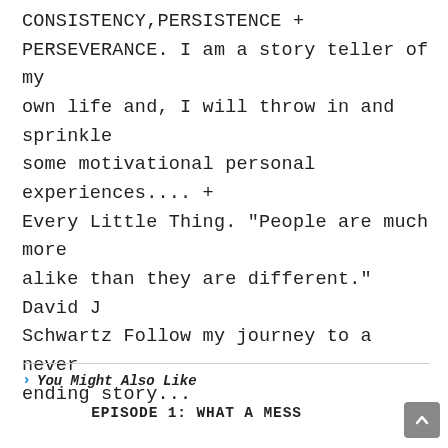CONSISTENCY,PERSISTENCE + PERSEVERANCE. I am a story teller of my own life and, I will throw in and sprinkle some motivational personal experiences.... + Every Little Thing. "People are much more alike than they are different." David J Schwartz Follow my journey to a never ending story...
You Might Also Like
EPISODE 1: WHAT A MESS